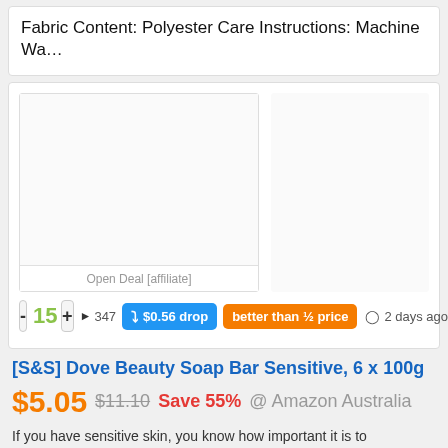Fabric Content: Polyester Care Instructions: Machine Wa…
[Figure (photo): Product image area (blank/loading) with Open Deal [affiliate] label below, and a second blank image area to the right]
- 15 + ▶ 347  ⤵ $0.56 drop  better than ½ price  🕐 2 days ago
[S&S] Dove Beauty Soap Bar Sensitive, 6 x 100g
$5.05  $11.10  Save 55%  @ Amazon Australia
If you have sensitive skin, you know how important it is to